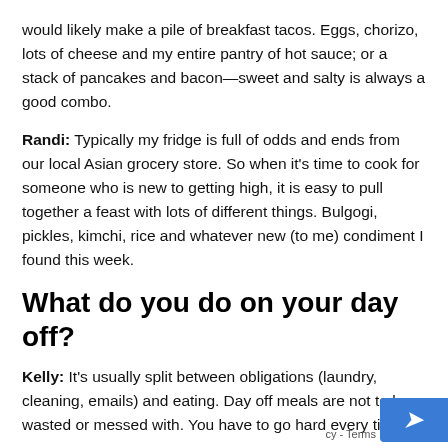would likely make a pile of breakfast tacos. Eggs, chorizo, lots of cheese and my entire pantry of hot sauce; or a stack of pancakes and bacon—sweet and salty is always a good combo.
Randi: Typically my fridge is full of odds and ends from our local Asian grocery store. So when it's time to cook for someone who is new to getting high, it is easy to pull together a feast with lots of different things. Bulgogi, pickles, kimchi, rice and whatever new (to me) condiment I found this week.
What do you do on your day off?
Kelly: It's usually split between obligations (laundry, cleaning, emails) and eating. Day off meals are not to be wasted or messed with. You have to go hard every time.
Randi: Days off are special! I spend mine eating well and cooking well for myself and my fiance.